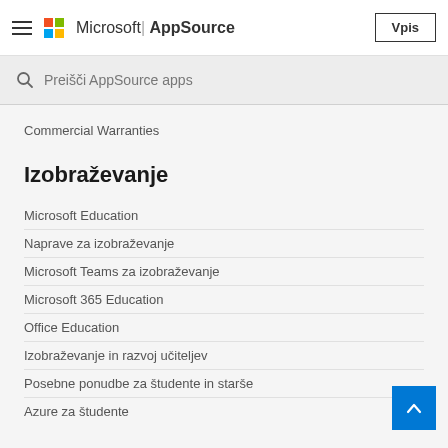Microsoft | AppSource — Vpis
Preišči AppSource apps
Commercial Warranties
Izobraževanje
Microsoft Education
Naprave za izobraževanje
Microsoft Teams za izobraževanje
Microsoft 365 Education
Office Education
Izobraževanje in razvoj učiteljev
Posebne ponudbe za študente in starše
Azure za študente